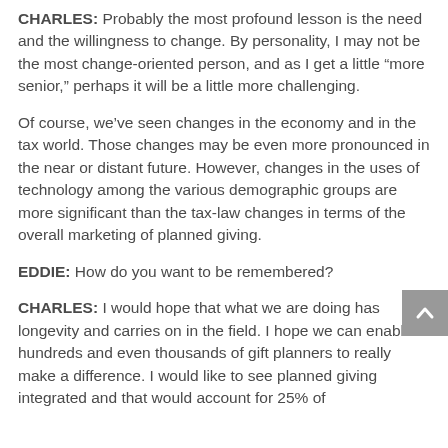CHARLES: Probably the most profound lesson is the need and the willingness to change. By personality, I may not be the most change-oriented person, and as I get a little “more senior,” perhaps it will be a little more challenging.
Of course, we’ve seen changes in the economy and in the tax world. Those changes may be even more pronounced in the near or distant future. However, changes in the uses of technology among the various demographic groups are more significant than the tax-law changes in terms of the overall marketing of planned giving.
EDDIE: How do you want to be remembered?
CHARLES: I would hope that what we are doing has longevity and carries on in the field. I hope we can enable hundreds and even thousands of gift planners to really make a difference. I would like to see planned giving integrated and that would account for 25% of